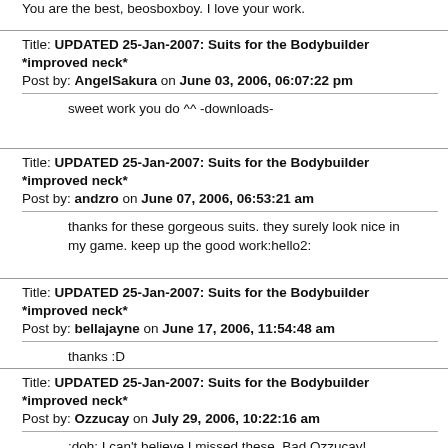You are the best, beosboxboy. I love your work.
Title: UPDATED 25-Jan-2007: Suits for the Bodybuilder *improved neck*
Post by: AngelSakura on June 03, 2006, 06:07:22 pm
sweet work you do ^^ -downloads-
Title: UPDATED 25-Jan-2007: Suits for the Bodybuilder *improved neck*
Post by: andzro on June 07, 2006, 06:53:21 am
thanks for these gorgeous suits. they surely look nice in my game. keep up the good work:hello2:
Title: UPDATED 25-Jan-2007: Suits for the Bodybuilder *improved neck*
Post by: bellajayne on June 17, 2006, 11:54:48 am
thanks :D
Title: UPDATED 25-Jan-2007: Suits for the Bodybuilder *improved neck*
Post by: Ozzucay on July 29, 2006, 10:22:16 am
:doh: I can't believe I missed these. Bad Ozzucay!